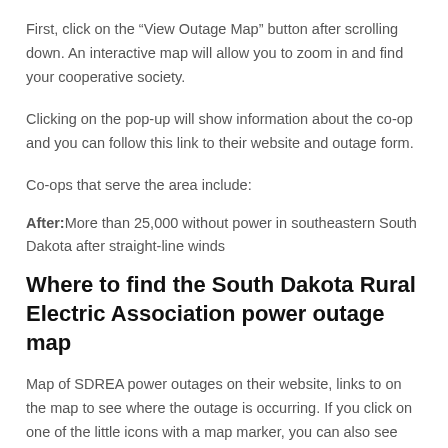First, click on the “View Outage Map” button after scrolling down. An interactive map will allow you to zoom in and find your cooperative society.
Clicking on the pop-up will show information about the co-op and you can follow this link to their website and outage form.
Co-ops that serve the area include:
After: More than 25,000 without power in southeastern South Dakota after straight-line winds
Where to find the South Dakota Rural Electric Association power outage map
Map of SDREA power outages on their website, links to on the map to see where the outage is occurring. If you click on one of the little icons with a map marker, you can also see how many customers are